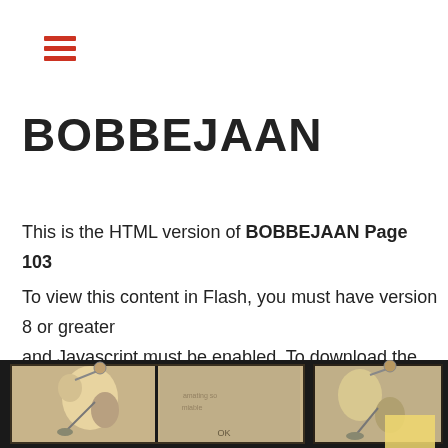☰ (hamburger menu icon)
BOBBEJAAN
This is the HTML version of BOBBEJAAN Page 103
To view this content in Flash, you must have version 8 or greater and Javascript must be enabled. To download the last Flash player click here
[Figure (photo): Two vintage black-and-white photos showing acrobatic performers with hats, side by side on a dark background strip]